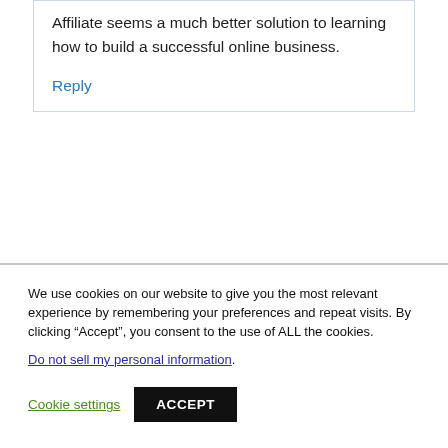Affiliate seems a much better solution to learning how to build a successful online business.
Reply
We use cookies on our website to give you the most relevant experience by remembering your preferences and repeat visits. By clicking “Accept”, you consent to the use of ALL the cookies.
Do not sell my personal information.
Cookie settings
ACCEPT